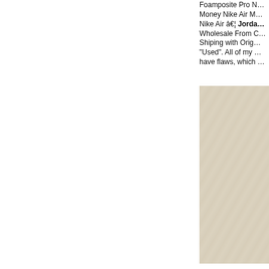Foamposite Pro N… Money Nike Air M… Nike Air … Jorda… Wholesale From C… Shiping with Orig… "Used". All of my … have flaws, which …
[Figure (photo): A crumpled or folded light beige/cream colored paper or fabric surface, partially visible on the right side of the page.]